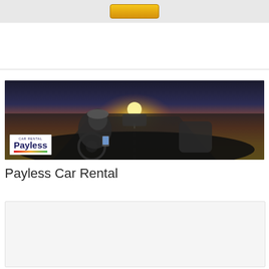[Figure (other): Top banner area with a yellow/gold button on a light gray background]
[Figure (photo): Interior view of a car with a person driving, looking at a phone, sunset visible through the windshield. Payless Car Rental logo overlaid in lower left corner.]
Payless Car Rental
[Figure (other): Bottom content panel, light gray background, partially visible]